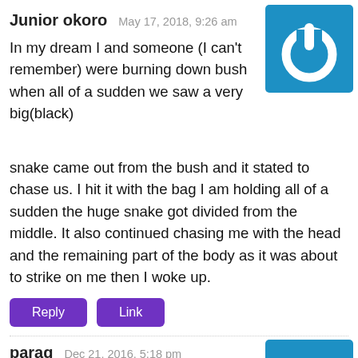Junior okoro   May 17, 2018, 9:26 am
In my dream I and someone (I can't remember) were burning down bush when all of a sudden we saw a very big(black) snake came out from the bush and it stated to chase us. I hit it with the bag I am holding all of a sudden the huge snake got divided from the middle. It also continued chasing me with the head and the remaining part of the body as it was about to strike on me then I woke up.
[Figure (logo): Blue square icon with a white power/on button symbol]
Reply   Link
parag   Dec 21, 2016, 5:18 pm
I have had this dream from childhood, I am
[Figure (logo): Blue square icon with a white power/on button symbol]